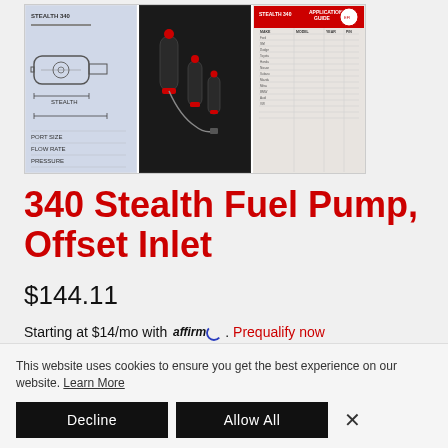[Figure (screenshot): Three product image panels: engineering schematic diagram of fuel pump, product photo of black fuel pumps on dark background, application guide document page]
340 Stealth Fuel Pump, Offset Inlet
$144.11
Starting at $14/mo with affirm. Prequalify now
P/N 11541: 340 Fuel Pump, Offset Inlet
This website uses cookies to ensure you get the best experience on our website. Learn More